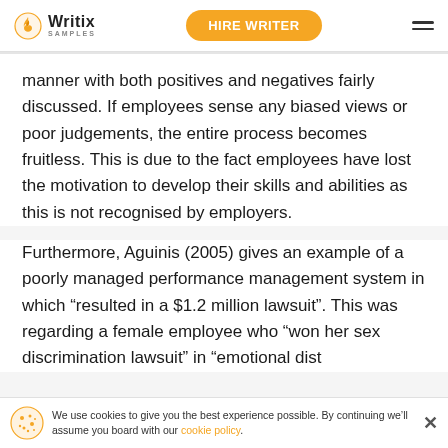Writix SAMPLES | HIRE WRITER
manner with both positives and negatives fairly discussed. If employees sense any biased views or poor judgements, the entire process becomes fruitless. This is due to the fact employees have lost the motivation to develop their skills and abilities as this is not recognised by employers.
Furthermore, Aguinis (2005) gives an example of a poorly managed performance management system in which “resulted in a $1.2 million lawsuit”. This was regarding a female employee who “won her sex discrimination lawsuit” in “emotional dist
We use cookies to give you the best experience possible. By continuing we’ll assume you board with our cookie policy.